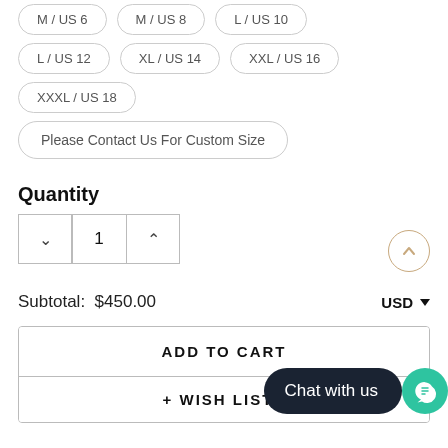M / US 6   M / US 8   L / US 10
L / US 12   XL / US 14   XXL / US 16
XXXL / US 18
Please Contact Us For Custom Size
Quantity
1
Subtotal:  $450.00   USD
ADD TO CART
+ WISH LISTS
Chat with us